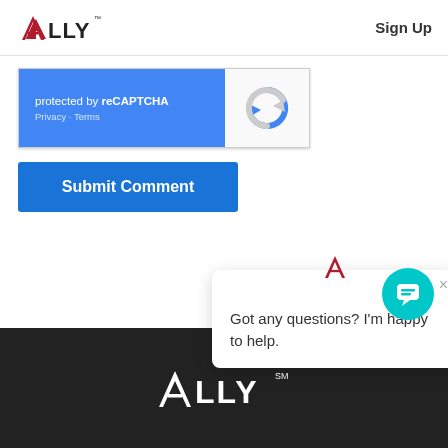[Figure (logo): Ally Financial logo in top left header with red/dark triangle A and black ALLY text with TM mark]
Sign Up
[Figure (screenshot): reCAPTCHA widget: blue left panel with 'protected by reCAPTCHA' and 'Privacy - Terms', grey right panel with reCAPTCHA arrows logo]
[Figure (screenshot): Submit Comment button in blue]
[Figure (screenshot): Chat popup with Ally logo icon at top, X close button, and text 'Got any questions? I'm happy to help.']
[Figure (logo): Ally Financial logo in white on dark footer background with SM mark]
[Figure (screenshot): Teal circular chat/support button in lower right]